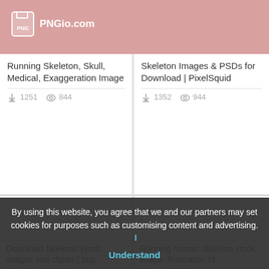PNGio.com
Running Skeleton, Skull, Medical, Exaggeration Image
1251 downloads  844 views
Skeleton Images & PSDs for Download | PixelSquid
1352 downloads  944 views
[Figure (screenshot): Loading spinner placeholder for skeleton image]
Download Skeleton photo images and clipart | Img...
[Figure (screenshot): Loading spinner placeholder for skeleton image]
Running human skeleton stock image. Illustration of...
By using this website, you agree that we and our partners may set cookies for purposes such as customising content and advertising. | Understand